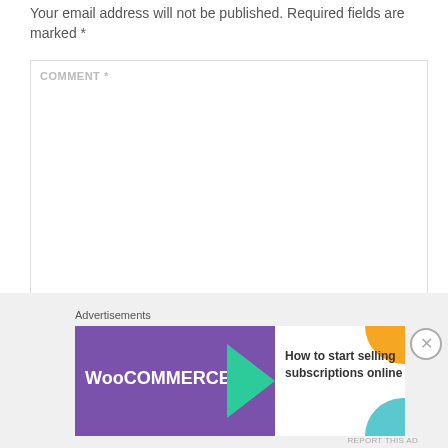Your email address will not be published. Required fields are marked *
COMMENT *
NAME *
Advertisements
[Figure (illustration): WooCommerce advertisement banner with purple background, teal arrow, and text 'How to start selling subscriptions online']